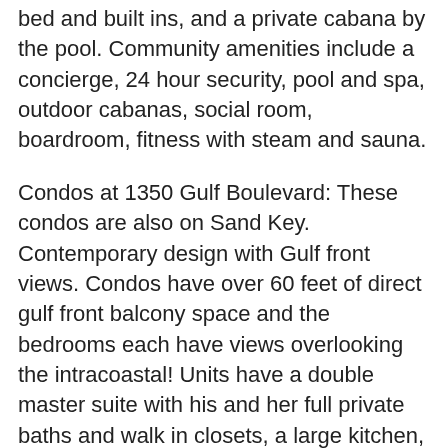bed and built ins, and a private cabana by the pool. Community amenities include a concierge, 24 hour security, pool and spa, outdoor cabanas, social room, boardroom, fitness with steam and sauna.
Condos at 1350 Gulf Boulevard: These condos are also on Sand Key. Contemporary design with Gulf front views. Condos have over 60 feet of direct gulf front balcony space and the bedrooms each have views overlooking the intracoastal! Units have a double master suite with his and her full private baths and walk in closets, a large kitchen, bar area, family room and formal entertaining areas. They also have 2 utility rooms, 4 bedrooms (not including the master) and gorgeous baths. The community amenities include a fitness center, clubhouse, meeting room, heated pool, spa and more.